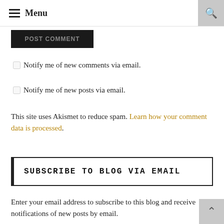Menu
POST COMMENT
Notify me of new comments via email.
Notify me of new posts via email.
This site uses Akismet to reduce spam. Learn how your comment data is processed.
SUBSCRIBE TO BLOG VIA EMAIL
Enter your email address to subscribe to this blog and receive notifications of new posts by email.